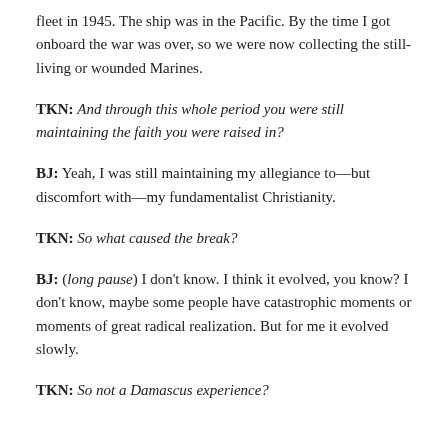fleet in 1945. The ship was in the Pacific. By the time I got onboard the war was over, so we were now collecting the still-living or wounded Marines.
TKN: And through this whole period you were still maintaining the faith you were raised in?
BJ: Yeah, I was still maintaining my allegiance to—but discomfort with—my fundamentalist Christianity.
TKN: So what caused the break?
BJ: (long pause) I don't know. I think it evolved, you know? I don't know, maybe some people have catastrophic moments or moments of great radical realization. But for me it evolved slowly.
TKN: So not a Damascus experience?